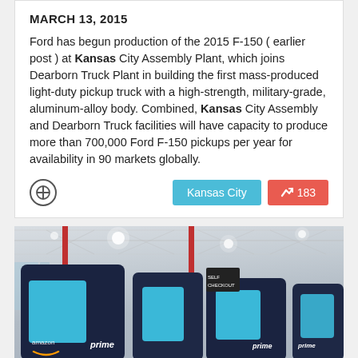MARCH 13, 2015
Ford has begun production of the 2015 F-150 ( earlier post ) at Kansas City Assembly Plant, which joins Dearborn Truck Plant in building the first mass-produced light-duty pickup truck with a high-strength, military-grade, aluminum-alloy body. Combined, Kansas City Assembly and Dearborn Truck facilities will have capacity to produce more than 700,000 Ford F-150 pickups per year for availability in 90 markets globally.
[Figure (photo): Interior of a warehouse or retail store showing Amazon Prime kiosk units with blue screens, red pillars in background, and ceiling lights]
Kansas City  ↗ 183